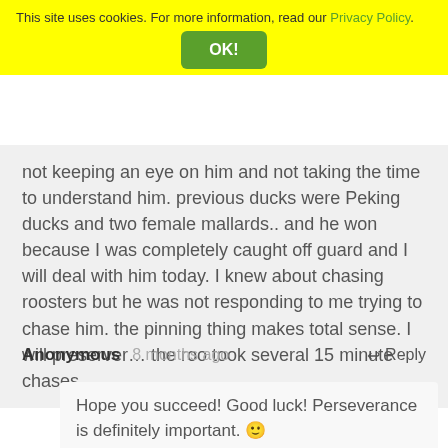This site uses cookies. For more information, read our Privacy Policy.
not keeping an eye on him and not taking the time to understand him. previous ducks were Peking ducks and two female mallards.. and he won because I was completely caught off guard and I will deal with him today. I knew about chasing roosters but he was not responding to me trying to chase him. the pinning thing makes total sense. I will preserver… the roo took several 15 minute chases.
Anonymous  8 months ago    ↩ Reply
Hope you succeed! Good luck! Perseverance is definitely important. 🙂